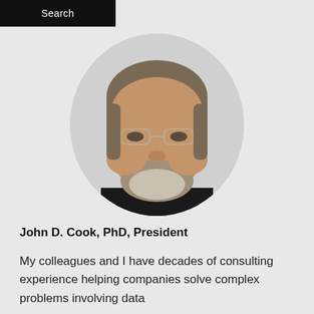Search
[Figure (photo): Circular headshot photo of a middle-aged man with grey-brown hair and beard, wearing glasses and a dark shirt, smiling at the camera. Photo is cropped in a circle against a light grey background.]
John D. Cook, PhD, President
My colleagues and I have decades of consulting experience helping companies solve complex problems involving data